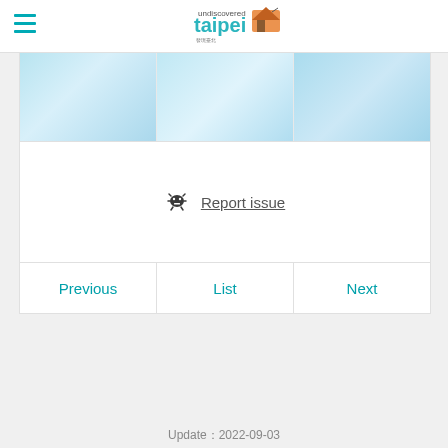undiscovered taipei
[Figure (photo): Three light blue sky image panels arranged horizontally in a strip]
🪲 Report issue
Previous | List | Next
Update：2022-09-03